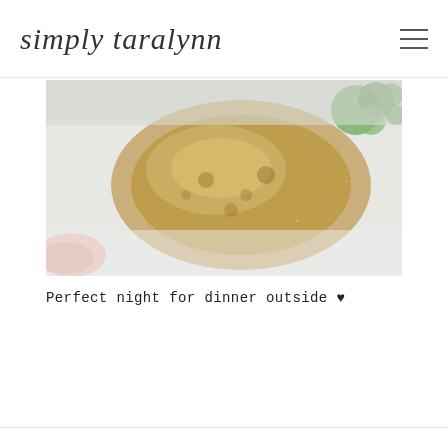simply taralynn
[Figure (photo): Close-up food photo showing a baked or pan-fried dish, appears to be a breaded patty or casserole portion with golden-brown top, served on a white plate with some green vegetable visible in the top right corner and a pink/salmon colored item at the bottom left.]
Perfect night for dinner outside ♥